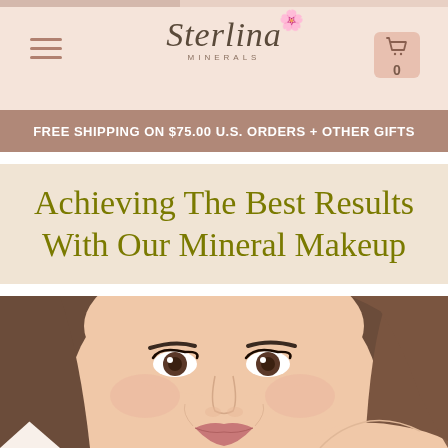Sterlina Minerals – navigation bar with hamburger menu, logo, and cart icon showing 0
FREE SHIPPING ON $75.00 U.S. ORDERS + OTHER GIFTS
Achieving The Best Results With Our Mineral Makeup
[Figure (photo): Close-up photo of a smiling woman with brown hair touching her face, wearing natural makeup]